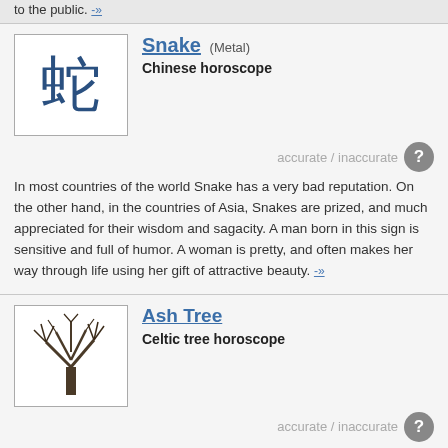to the public. -»
Snake (Metal) — Chinese horoscope
accurate / inaccurate
In most countries of the world Snake has a very bad reputation. On the other hand, in the countries of Asia, Snakes are prized, and much appreciated for their wisdom and sagacity. A man born in this sign is sensitive and full of humor. A woman is pretty, and often makes her way through life using her gift of attractive beauty. -»
Ash Tree — Celtic tree horoscope
accurate / inaccurate
People born under the rule of Ash usually have a happy life because they are prepared for anything. Ash people are tough, ambitious and very capable. They usually manage to reach goals they set due to their good organizational skills and practical foresight. -»
NUMEROLOGY